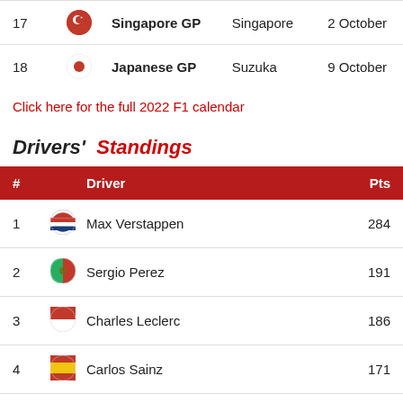| # |  | GP | Location | Date |
| --- | --- | --- | --- | --- |
| 17 | 🇸🇬 | Singapore GP | Singapore | 2 October |
| 18 | 🇯🇵 | Japanese GP | Suzuka | 9 October |
Click here for the full 2022 F1 calendar
Drivers' Standings
| # | Driver | Pts |
| --- | --- | --- |
| 1 | Max Verstappen | 284 |
| 2 | Sergio Perez | 191 |
| 3 | Charles Leclerc | 186 |
| 4 | Carlos Sainz | 171 |
| 5 | George Russell | 170 |
| 6 | Lewis Hamilton | 146 |
| 7 | Lando Norris | 76 |